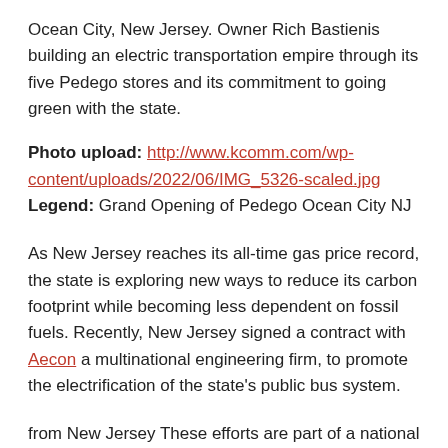Ocean City, New Jersey. Owner Rich Bastienis building an electric transportation empire through its five Pedego stores and its commitment to going green with the state.
Photo upload: http://www.kcomm.com/wp-content/uploads/2022/06/IMG_5326-scaled.jpg
Legend: Grand Opening of Pedego Ocean City NJ
As New Jersey reaches its all-time gas price record, the state is exploring new ways to reduce its carbon footprint while becoming less dependent on fossil fuels. Recently, New Jersey signed a contract with Aecon a multinational engineering firm, to promote the electrification of the state's public bus system.
from New Jersey These efforts are part of a national initiative to reduce dependence on petroleum products. United States The government has announced efforts to use green procurement practices and innovation to transform high-polluting industries into low-carbon industries. At the individual level, citizens are taking